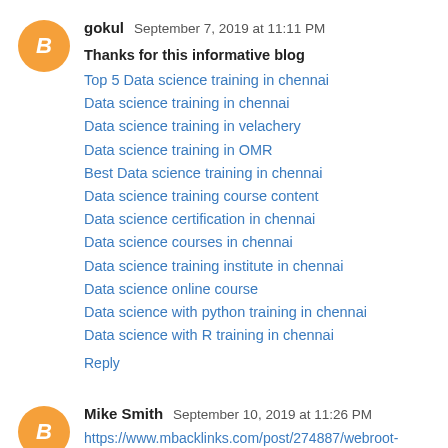gokul  September 7, 2019 at 11:11 PM
Thanks for this informative blog
Top 5 Data science training in chennai
Data science training in chennai
Data science training in velachery
Data science training in OMR
Best Data science training in chennai
Data science training course content
Data science certification in chennai
Data science courses in chennai
Data science training institute in chennai
Data science online course
Data science with python training in chennai
Data science with R training in chennai
Reply
Mike Smith  September 10, 2019 at 11:26 PM
https://www.mbacklinks.com/post/274887/webroot-